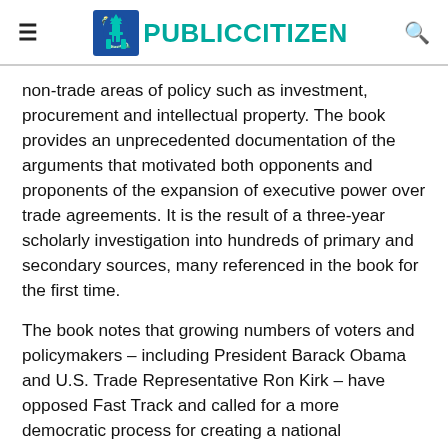PUBLIC CITIZEN
non-trade areas of policy such as investment, procurement and intellectual property. The book provides an unprecedented documentation of the arguments that motivated both opponents and proponents of the expansion of executive power over trade agreements. It is the result of a three-year scholarly investigation into hundreds of primary and secondary sources, many referenced in the book for the first time.
The book notes that growing numbers of voters and policymakers – including President Barack Obama and U.S. Trade Representative Ron Kirk – have opposed Fast Track and called for a more democratic process for creating a national globalization strategy.
“We look forward to a future new mechanism that